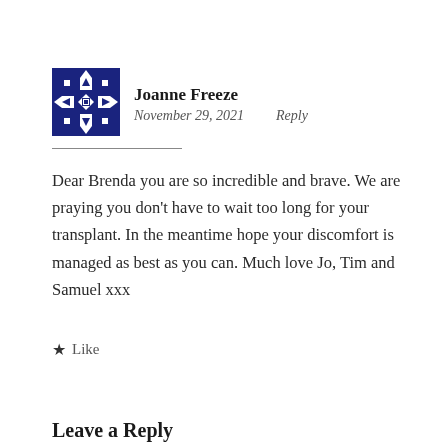[Figure (illustration): Decorative geometric avatar icon with blue and white pattern, resembling a quilt or tile design.]
Joanne Freeze
November 29, 2021    Reply
Dear Brenda you are so incredible and brave. We are praying you don’t have to wait too long for your transplant. In the meantime hope your discomfort is managed as best as you can. Much love Jo, Tim and Samuel xxx
★ Like
Leave a Reply